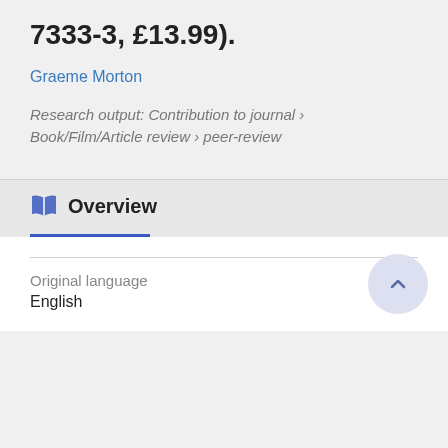7333-3, £13.99).
Graeme Morton
Research output: Contribution to journal › Book/Film/Article review › peer-review
Overview
Original language
English